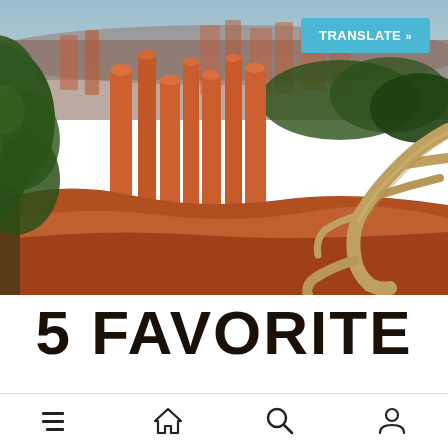[Figure (photo): Bryce Canyon National Park landscape photo showing orange-red hoodoo rock formations, green pine trees on the left, a gnarled driftwood branch on the right, and distant canyon layers under a blue-grey sky. A cyan 'TRANSLATE »' button overlay appears in the top-right corner.]
5 FAVORITE
[Figure (screenshot): Mobile app bottom navigation bar with four icons: hamburger menu (three lines), home (house), search (magnifying glass), and profile (person silhouette).]